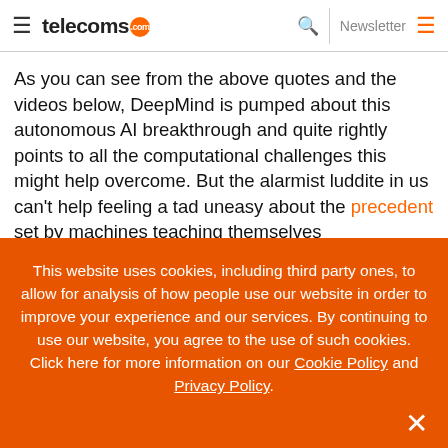telecoms.com | Newsletter
As you can see from the above quotes and the videos below, DeepMind is pumped about this autonomous AI breakthrough and quite rightly points to all the computational challenges this might help overcome. But the alarmist luddite in us can't help feeling a tad uneasy about the precedent set by machines teaching themselves independently of humans. Where will it end? We'll let Hollywood give you the worst-case scenario in
This website uses cookies, including third party ones, to allow for analysis of how people use our website in order to improve your experience and our services. By continuing to use our website, you agree to the use of such cookies. Click here for more information on our Cookie Policy and Privacy Policy.